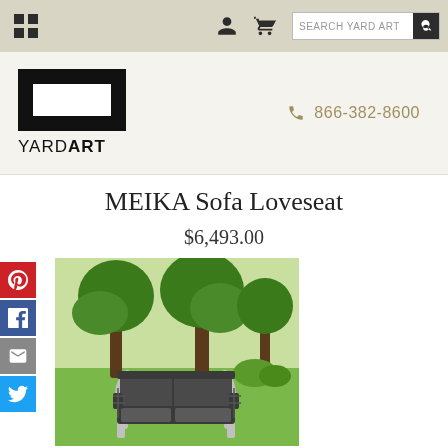YARD ART navigation bar with grid menu, user, cart, search
[Figure (logo): YARD ART logo: black rectangle frame with white interior rectangle, text YARDART below]
866-382-8600
MEIKA Sofa Loveseat
$6,493.00
[Figure (photo): Photo of a modern dark grey outdoor sofa loveseat with chrome/metal frame, placed in a park setting with green trees and lawn in the background]